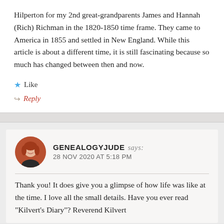Hilperton for my 2nd great-grandparents James and Hannah (Rich) Richman in the 1820-1850 time frame. They came to America in 1855 and settled in New England. While this article is about a different time, it is still fascinating because so much has changed between then and now.
★ Like
↪ Reply
[Figure (photo): Circular avatar photo of a woman with red/auburn hair, smiling, with a reddish-orange background]
GENEALOGYJUDE says: 28 NOV 2020 AT 5:18 PM
Thank you! It does give you a glimpse of how life was like at the time. I love all the small details. Have you ever read "Kilvert's Diary"? Reverend Kilvert